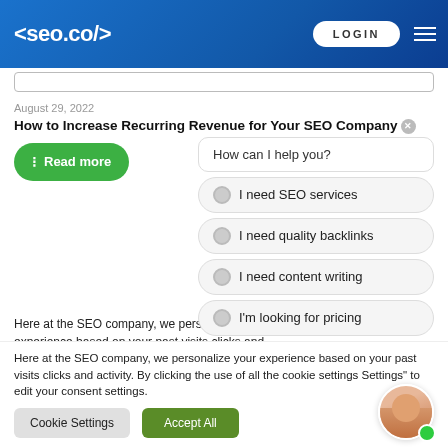<seo.co/>  LOGIN
August 29, 2022
How to Increase Recurring Revenue for Your SEO Company
Read more
How can I help you?
I need SEO services
I need quality backlinks
I need content writing
I'm looking for pricing
Here at the SEO company, we personalize your experience based on your past visits clicks and activity. By clicking the use of all the cookie settings Settings" to edit your consent settings.
Cookie Settings   Accept All